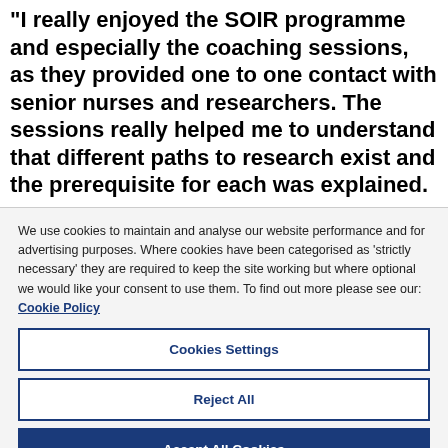"I really enjoyed the SOIR programme and especially the coaching sessions, as they provided one to one contact with senior nurses and researchers. The sessions really helped me to understand that different paths to research exist and the prerequisite for each was explained.
We use cookies to maintain and analyse our website performance and for advertising purposes. Where cookies have been categorised as 'strictly necessary' they are required to keep the site working but where optional we would like your consent to use them. To find out more please see our: Cookie Policy
Cookies Settings
Reject All
Accept All Cookies